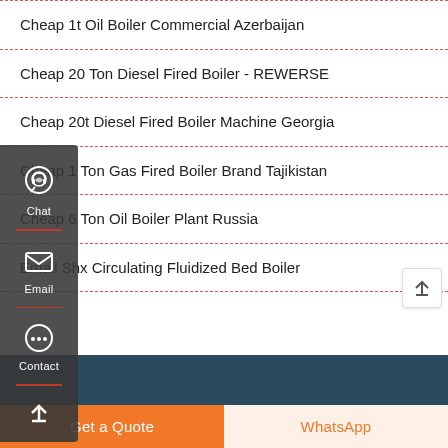Cheap 1t Oil Boiler Commercial Azerbaijan
Cheap 20 Ton Diesel Fired Boiler - REWERSE
Cheap 20t Diesel Fired Boiler Machine Georgia
Cheap 1 Ton Gas Fired Boiler Brand Tajikistan
Cheap 6 Ton Oil Boiler Plant Russia
Email Shx Circulating Fluidized Bed Boiler
[Figure (screenshot): Sidebar with Chat, Email, Contact icons and scroll-up arrow on dark background]
[Figure (screenshot): Dark blue footer background strip]
Get a Quote
WhatsApp